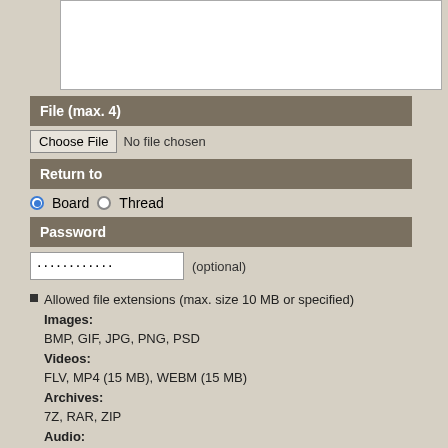[Figure (screenshot): Textarea input box (empty)]
File (max. 4)
Choose File   No file chosen
Return to
Board   Thread
Password
............ (optional)
Allowed file extensions (max. size 10 MB or specified)
Images:
BMP, GIF, JPG, PNG, PSD
Videos:
FLV, MP4 (15 MB), WEBM (15 MB)
Archives:
7Z, RAR, ZIP
Audio:
MP3, OGG
Documents:
PDF